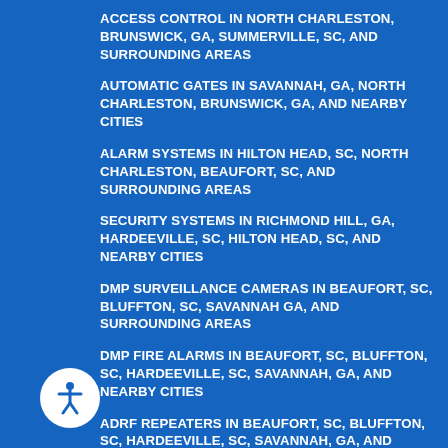ACCESS CONTROL IN NORTH CHARLESTON, BRUNSWICK, GA, SUMMERVILLE, SC, AND SURROUNDING AREAS
AUTOMATIC GATES IN SAVANNAH, GA, NORTH CHARLESTON, BRUNSWICK, GA, AND NEARBY CITIES
ALARM SYSTEMS IN HILTON HEAD, SC, NORTH CHARLESTON, BEAUFORT, SC, AND SURROUNDING AREAS
SECURITY SYSTEMS IN RICHMOND HILL, GA, HARDEEVILLE, SC, HILTON HEAD, SC, AND NEARBY CITIES
DMP SURVEILLANCE CAMERAS IN BEAUFORT, SC, BLUFFTON, SC, SAVANNAH GA, AND SURROUNDING AREAS
DMP FIRE ALARMS IN BEAUFORT, SC, BLUFFTON, SC, HARDEEVILLE, SC, SAVANNAH, GA, AND NEARBY CITIES
ADRF REPEATERS IN BEAUFORT, SC, BLUFFTON, SC, HARDEEVILLE, SC, SAVANNAH, GA, AND SURROUNDING AREAS
SECURITY GATES IN NORTH CHARLESTON, BRUNSWICK, GA, STATESBORO, GA AND NEARBY CITIES
ALARM MONITORING IN BEAUFORT, SC, HILTON HEAD, SC, NORTH CHARLESTON AND SURROUNDING AREAS